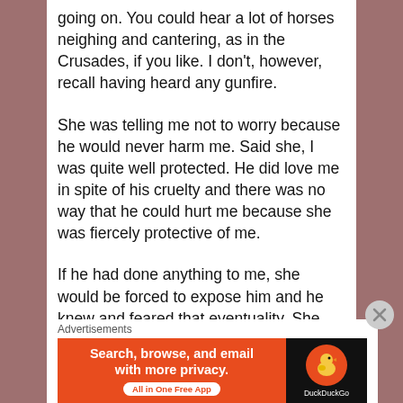going on.  You could hear a lot of horses neighing and cantering, as in the Crusades, if you like.  I don't, however, recall having heard any gunfire.
She was telling me not to worry because he would never harm me.  Said she, I was quite well protected.  He did love me in spite of his cruelty and there was no way that he could hurt me because she was fiercely protective of me.
If he had done anything to me, she would be forced to expose him and he knew and feared that eventuality.  She told me to just go on outside and play.  So, I went out into the yard and it was a
Advertisements
[Figure (other): DuckDuckGo advertisement banner: orange left section with white bold text 'Search, browse, and email with more privacy.' and a white pill button 'All in One Free App'; black right section with DuckDuckGo logo (orange circle with duck icon) and white text 'DuckDuckGo'.]